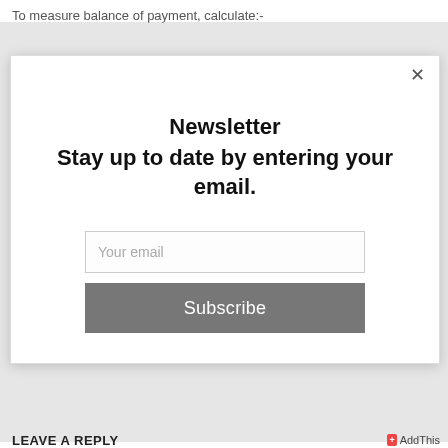To measure balance of payment, calculate:-
[Figure (screenshot): Newsletter popup modal with title 'Newsletter Stay up to date by entering your email.', an email input field with placeholder 'Your email', a grey 'Subscribe' button, and a close (×) button in the top right corner.]
LEAVE A REPLY